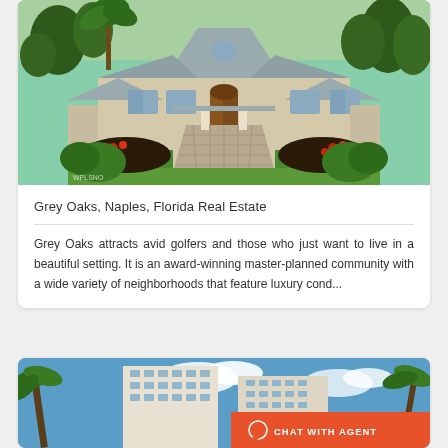[Figure (photo): Exterior photo of a luxury single-story home with grey tile roof, stone paver driveway, lush tropical landscaping, and flowering plants in Grey Oaks, Naples, Florida]
Grey Oaks, Naples, Florida Real Estate
Grey Oaks attracts avid golfers and those who just want to live in a beautiful setting. It is an award-winning master-planned community with a wide variety of neighborhoods that feature luxury cond...
[Figure (photo): Photo of high-rise condominium buildings with blue sky, clouds, and palm trees. A chat button overlay reads 'CHAT WITH AGENT']